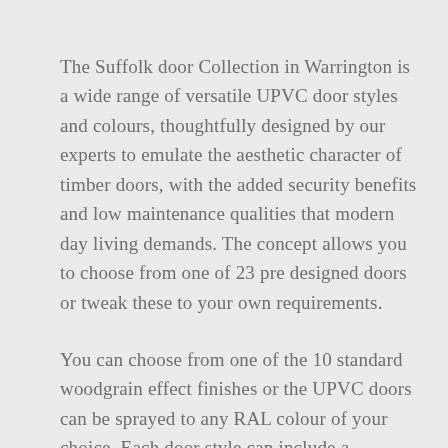The Suffolk door Collection in Warrington is a wide range of versatile UPVC door styles and colours, thoughtfully designed by our experts to emulate the aesthetic character of timber doors, with the added security benefits and low maintenance qualities that modern day living demands. The concept allows you to choose from one of 23 pre designed doors or tweak these to your own requirements.
You can choose from one of the 10 standard woodgrain effect finishes or the UPVC doors can be sprayed to any RAL colour of your choice. Each door style can include a combination of any type of glass or infil panels to ensure that the property